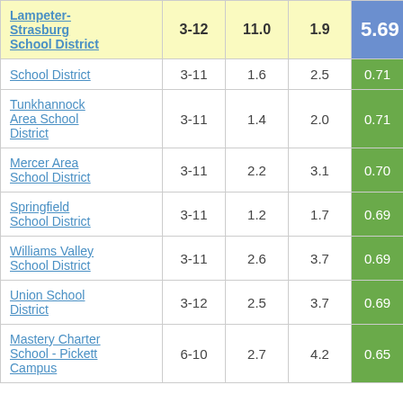| School District | Grades | Col3 | Col4 | Score |
| --- | --- | --- | --- | --- |
| Lampeter-Strasburg School District | 3-12 | 11.0 | 1.9 | 5.69 |
| School District | 3-11 | 1.6 | 2.5 | 0.71 |
| Tunkhannock Area School District | 3-11 | 1.4 | 2.0 | 0.71 |
| Mercer Area School District | 3-11 | 2.2 | 3.1 | 0.70 |
| Springfield School District | 3-11 | 1.2 | 1.7 | 0.69 |
| Williams Valley School District | 3-11 | 2.6 | 3.7 | 0.69 |
| Union School District | 3-12 | 2.5 | 3.7 | 0.69 |
| Mastery Charter School - Pickett Campus | 6-10 | 2.7 | 4.2 | 0.65 |